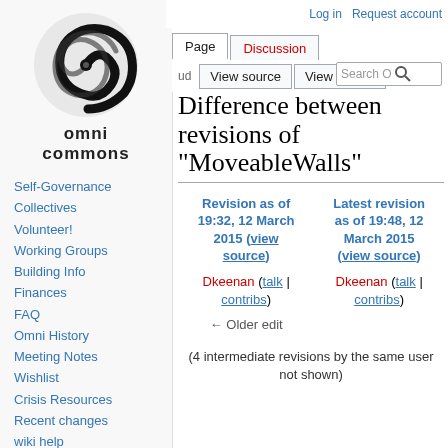[Figure (logo): Omni Commons spiral galaxy logo in black and white]
omni commons
Self-Governance
Collectives
Volunteer!
Working Groups
Building Info
Finances
FAQ
Omni History
Meeting Notes
Wishlist
Crisis Resources
Recent changes
wiki help
DONATE
Log in   Request account
Difference between revisions of "MoveableWalls"
| Revision as of 19:32, 12 March 2015 (view source) | Latest revision as of 19:48, 12 March 2015 (view source) |
| --- | --- |
| Dkeenan (talk | contribs) | Dkeenan (talk | contribs) |
| ← Older edit |  |
(4 intermediate revisions by the same user not shown)